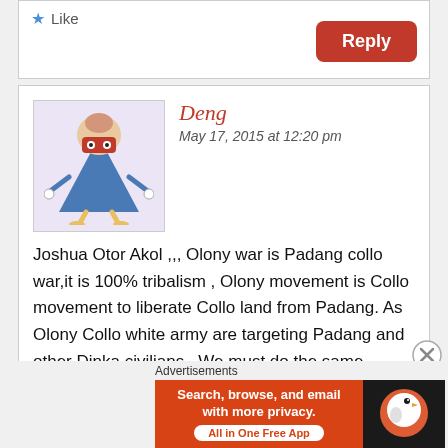[Figure (screenshot): Like button with star icon at top of comment section]
[Figure (screenshot): Red Reply button on right side]
[Figure (illustration): Avatar image of cartoon robot/alien character]
Deng
May 17, 2015 at 12:20 pm
Joshua Otor Akol ,,, Olony war is Padang collo war,it is 100% tribalism , Olony movement is Collo movement to liberate Collo land from Padang. As Olony Collo white army are targeting Padang and other Dinka civilians . We must do the same , Collo must be targeted , all over great upper
Advertisements
[Figure (screenshot): DuckDuckGo advertisement banner: Search, browse, and email with more privacy. All in One Free App]